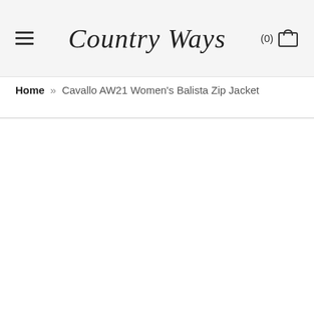Country Ways
Home » Cavallo AW21 Women's Balista Zip Jacket
[Figure (other): Empty white product image area below breadcrumb, with a thin top border]